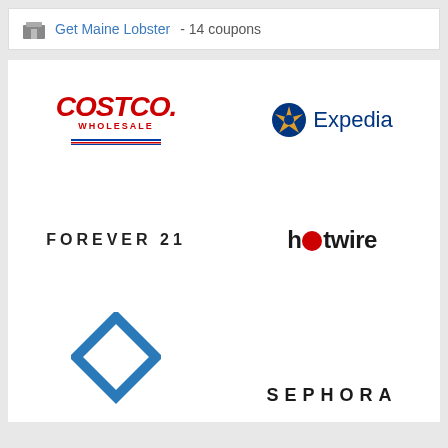Get Maine Lobster  - 14 coupons
[Figure (logo): Costco Wholesale logo - red italic bold text with blue underlines]
[Figure (logo): Expedia logo - blue circle with yellow star/plane mark and blue Expedia text]
[Figure (logo): Forever 21 logo - bold uppercase spaced black letters]
[Figure (logo): Hotwire logo - bold black text with red circle replacing the letter o]
[Figure (logo): Blue diamond/chevron logo (partially visible)]
[Figure (logo): Sephora logo - bold uppercase spaced black letters (partially visible)]